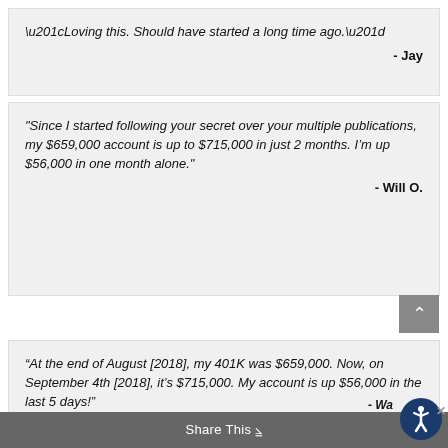“Loving this. Should have started a long time ago.”
- Jay
"Since I started following your secret over your multiple publications, my $659,000 account is up to $715,000 in just 2 months. I’m up $56,000 in one month alone."
- Will O.
“At the end of August [2018], my 401K was $659,000. Now, on September 4th [2018], it’s $715,000. My account is up $56,000 in the last 5 days!”
- Wa...
Share This